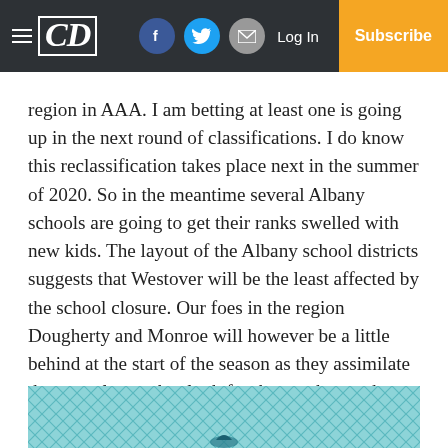CD | Log In | Subscribe
region in AAA. I am betting at least one is going up in the next round of classifications. I do know this reclassification takes place next in the summer of 2020. So in the meantime several Albany schools are going to get their ranks swelled with new kids. The layout of the Albany school districts suggests that Westover will be the least affected by the school closure. Our foes in the region Dougherty and Monroe will however be a little behind at the start of the season as they assimilate the new players, but look for them to be much improved in 2017.
[Figure (photo): Partial photo showing a teal/aqua diamond net pattern background with what appears to be a bird or sports-related image at the bottom of the page.]